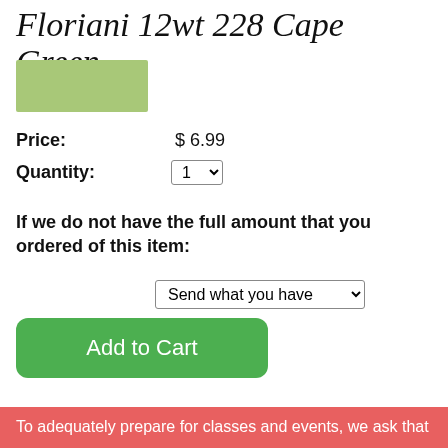Floriani 12wt 228 Cape Green
[Figure (other): Color swatch rectangle showing Cape Green color (light sage green)]
Price: $ 6.99
Quantity: 1
If we do not have the full amount that you ordered of this item:
Send what you have
Add to Cart
To adequately prepare for classes and events, we ask that